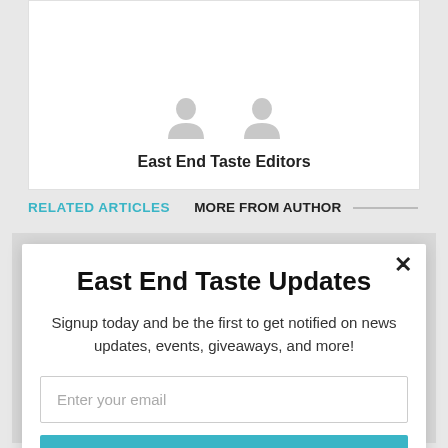East End Taste Editors
RELATED ARTICLES   MORE FROM AUTHOR
East End Taste Updates
Signup today and be the first to get notified on news updates, events, giveaways, and more!
Enter your email
Subscribe
powered by MailMunch